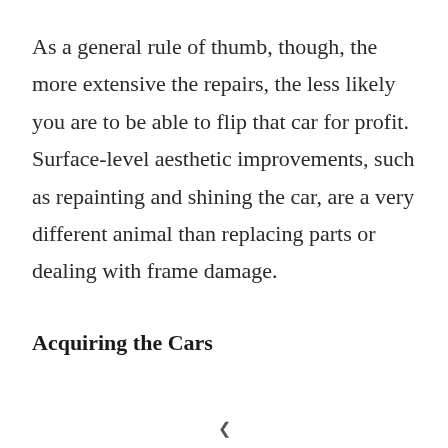As a general rule of thumb, though, the more extensive the repairs, the less likely you are to be able to flip that car for profit. Surface-level aesthetic improvements, such as repainting and shining the car, are a very different animal than replacing parts or dealing with frame damage.
Acquiring the Cars